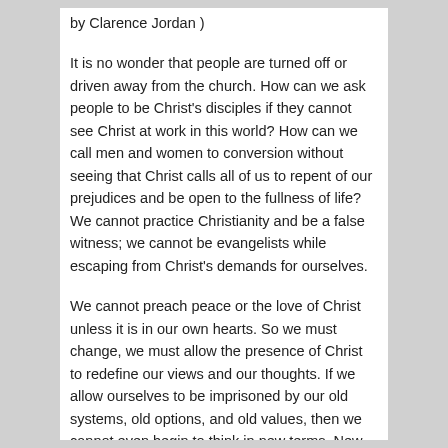by Clarence Jordan )
It is no wonder that people are turned off or driven away from the church. How can we ask people to be Christ's disciples if they cannot see Christ at work in this world? How can we call men and women to conversion without seeing that Christ calls all of us to repent of our prejudices and be open to the fullness of life? We cannot practice Christianity and be a false witness; we cannot be evangelists while escaping from Christ's demands for ourselves.
We cannot preach peace or the love of Christ unless it is in our own hearts. So we must change, we must allow the presence of Christ to redefine our views and our thoughts. If we allow ourselves to be imprisoned by our old systems, old options, and old values, then we cannot even begin to think in new terms. New visions cannot come from old structures; new values will not be created from old assumptions. Visions come when people are renewed, not by their reactions. If we allow our reactions to guide the paths we walk, we will never be able to see as we should